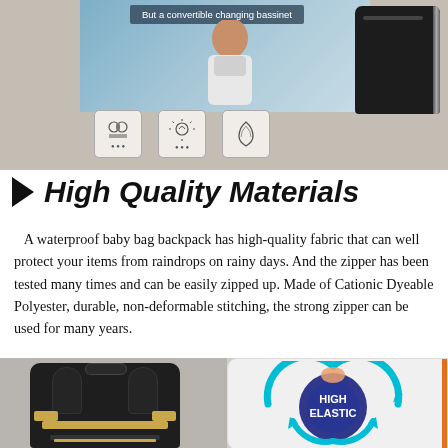[Figure (photo): Product image showing a baby bag backpack with convertible changing bassinet text overlay, icons for waterproofing and other features, and a black bag on the right side]
High Quality Materials
A waterproof baby bag backpack has high-quality fabric that can well protect your items from raindrops on rainy days. And the zipper has been tested many times and can be easily zipped up. Made of Cationic Dyeable Polyester, durable, non-deformable stitching, the strong zipper can be used for many years.
[Figure (photo): Bottom image showing the back of a black diaper backpack with gold buckles on the left, and a circular infographic on the right showing HIGH ELASTIC label with arrows and fabric layers]